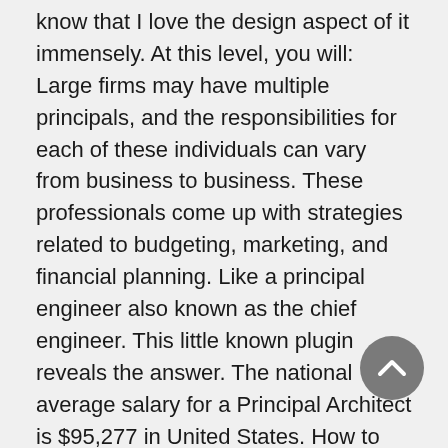know that I love the design aspect of it immensely. At this level, you will: Large firms may have multiple principals, and the responsibilities for each of these individuals can vary from business to business. These professionals come up with strategies related to budgeting, marketing, and financial planning. Like a principal engineer also known as the chief engineer. This little known plugin reveals the answer. The national average salary for a Principal Architect is $95,277 in United States. How to Answer: What Are Your Strengths and Weaknesses? Principal technical architect A principal technical architect leads at the highest level and is responsible for making sure the strategy is agreed and followed. Architecture Firms The AIA collects and disseminates Best Practices as a service to AIA members without endorsement or recommendation. Wikibuy Review: A Free Tool That Saves You Time and Money, 15 Creative Ways to Save
[Figure (other): A circular scroll-to-top button (dark gray circle with upward-pointing chevron arrow) overlaid in the bottom-right area of the page.]